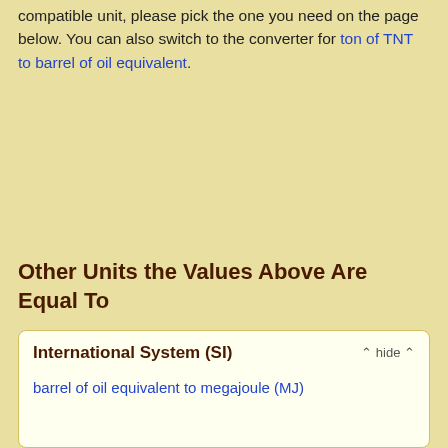compatible unit, please pick the one you need on the page below. You can also switch to the converter for ton of TNT to barrel of oil equivalent.
Other Units the Values Above Are Equal To
International System (SI)
hide
barrel of oil equivalent to megajoule (MJ)